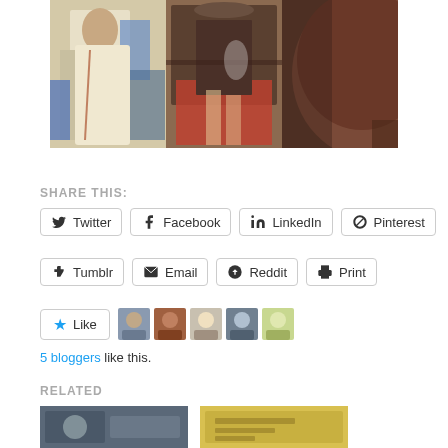[Figure (photo): Three photos side by side: left shows a person in white dress outdoors, center shows a mirror reflection with red floor/items, right shows a close-up of a dark rounded object]
SHARE THIS:
Twitter
Facebook
LinkedIn
Pinterest
Tumblr
Email
Reddit
Print
5 bloggers like this.
RELATED
[Figure (photo): Two related article thumbnail images at bottom]